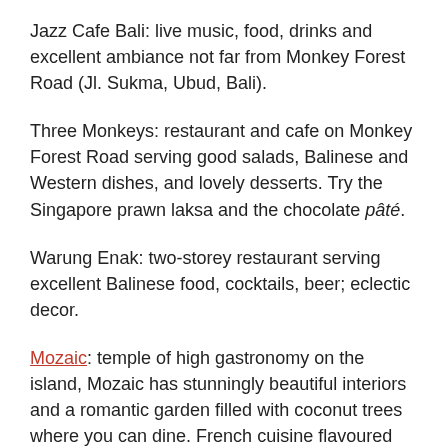Jazz Cafe Bali: live music, food, drinks and excellent ambiance not far from Monkey Forest Road (Jl. Sukma, Ubud, Bali).
Three Monkeys: restaurant and cafe on Monkey Forest Road serving good salads, Balinese and Western dishes, and lovely desserts. Try the Singapore prawn laksa and the chocolate pâté.
Warung Enak: two-storey restaurant serving excellent Balinese food, cocktails, beer; eclectic decor.
Mozaic: temple of high gastronomy on the island, Mozaic has stunningly beautiful interiors and a romantic garden filled with coconut trees where you can dine. French cuisine flavoured with Balinese influences by French-trained chef, Chris Salans. You must reserve in advance especially if you want to eat outdoors.
Luxurious spas in Bali
Como Shambhala: the spa at this luxury hotel is impressive and the service is amazing. You'll feel like melting away after their